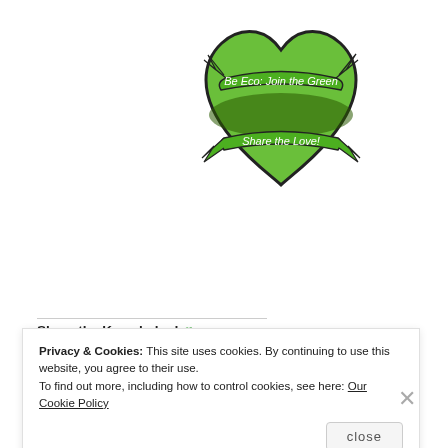[Figure (logo): Green heart logo with ribbon banner reading 'Be Eco: Join the Green, Share the Love!']
Share the Knowledge! 💚
Pinterest  Facebook  Twitter  LinkedIn  More
Privacy & Cookies: This site uses cookies. By continuing to use this website, you agree to their use.
To find out more, including how to control cookies, see here: Our Cookie Policy
close